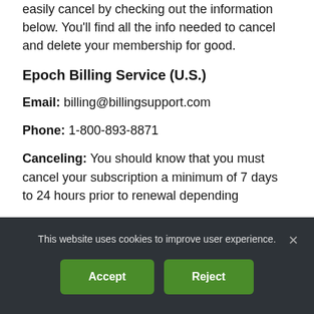easily cancel by checking out the information below. You'll find all the info needed to cancel and delete your membership for good.
Epoch Billing Service (U.S.)
Email: billing@billingsupport.com
Phone: 1-800-893-8871
Canceling: You should know that you must cancel your subscription a minimum of 7 days to 24 hours prior to renewal depending
This website uses cookies to improve user experience.
Accept
Reject